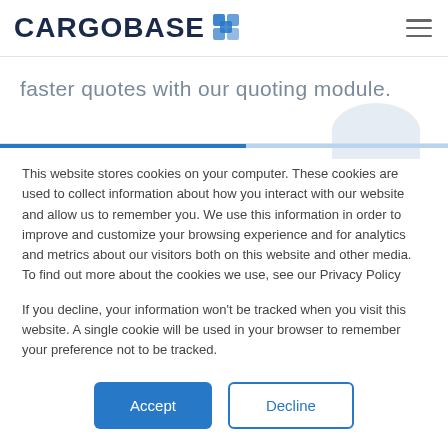[Figure (logo): CARGOBASE logo with blue cube/box icon to the right of the text]
faster quotes with our quoting module.
This website stores cookies on your computer. These cookies are used to collect information about how you interact with our website and allow us to remember you. We use this information in order to improve and customize your browsing experience and for analytics and metrics about our visitors both on this website and other media. To find out more about the cookies we use, see our Privacy Policy
If you decline, your information won't be tracked when you visit this website. A single cookie will be used in your browser to remember your preference not to be tracked.